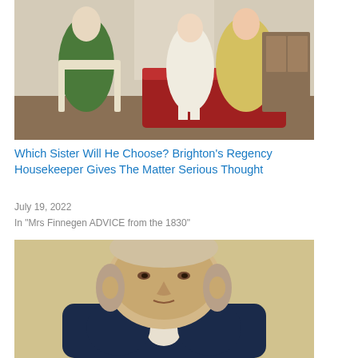[Figure (photo): Regency-era painting showing a man in green coat and two women in white dresses seated on red upholstered furniture in an ornate interior]
Which Sister Will He Choose? Brighton’s Regency Housekeeper Gives The Matter Serious Thought
July 19, 2022
In "Mrs Finnegen ADVICE from the 1830"
[Figure (photo): Portrait of a middle-aged man in early 19th century dress, wearing a dark blue coat and yellow cravat, painted in a realistic style on a beige background]